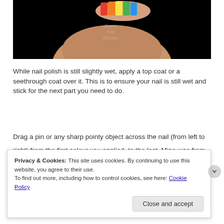[Figure (photo): A hand/finger with colorful rainbow nail polish (red, orange, yellow, green, blue) against a black background, with a watermark reading 'deeper than fashion' in italic script]
While nail polish is still slightly wet, apply a top coat or a seethrough coat over it. This is to ensure your nail is still wet and stick for the next part you need to do.
Drag a pin or any sharp pointy object across the nail (from left to right) from the first colour you applied, to the last. Mine was from red to purple. Repeat the same thing until it turns out like this;
Privacy & Cookies: This site uses cookies. By continuing to use this website, you agree to their use.
To find out more, including how to control cookies, see here: Cookie Policy